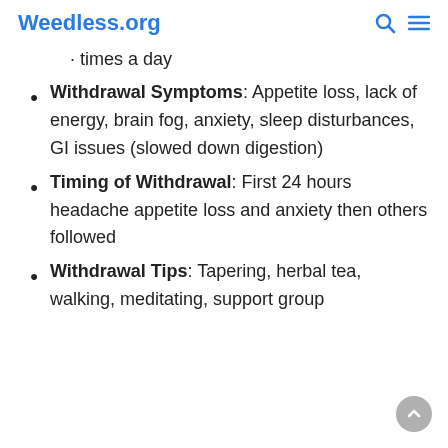Weedless.org
times a day
Withdrawal Symptoms: Appetite loss, lack of energy, brain fog, anxiety, sleep disturbances, GI issues (slowed down digestion)
Timing of Withdrawal: First 24 hours headache appetite loss and anxiety then others followed
Withdrawal Tips: Tapering, herbal tea, walking, meditating, support group